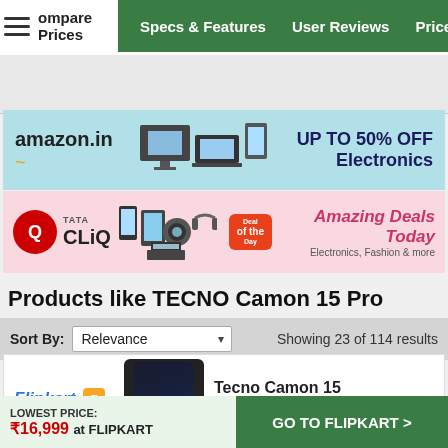Compare Prices | Specs & Features | User Reviews | Price Cha...
[Figure (illustration): Amazon.in banner ad - UP TO 50% OFF Electronics]
[Figure (illustration): Tata CLiQ banner ad - Amazing Deals Today, Electronics, Fashion & more]
Products like TECNO Camon 15 Pro
Sort By: Relevance | Showing 23 of 114 results
[Figure (photo): Flipkart product listing - Tecno Camon 15 (Fascinating Purple, 64...]
Tecno Camon 15 (Fascinating Purple, 64...
LOWEST PRICE: ₹16,999 at FLIPKART | GO TO FLIPKART >